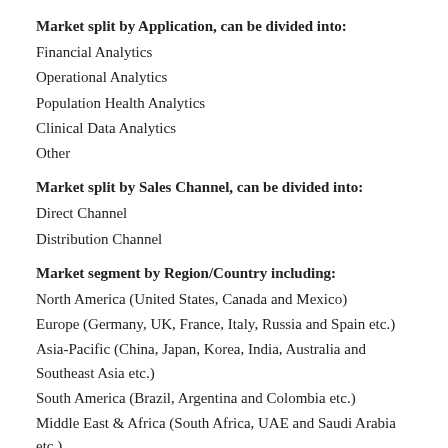Market split by Application, can be divided into:
Financial Analytics
Operational Analytics
Population Health Analytics
Clinical Data Analytics
Other
Market split by Sales Channel, can be divided into:
Direct Channel
Distribution Channel
Market segment by Region/Country including:
North America (United States, Canada and Mexico)
Europe (Germany, UK, France, Italy, Russia and Spain etc.)
Asia-Pacific (China, Japan, Korea, India, Australia and Southeast Asia etc.)
South America (Brazil, Argentina and Colombia etc.)
Middle East & Africa (South Africa, UAE and Saudi Arabia etc.)
Ask Queries